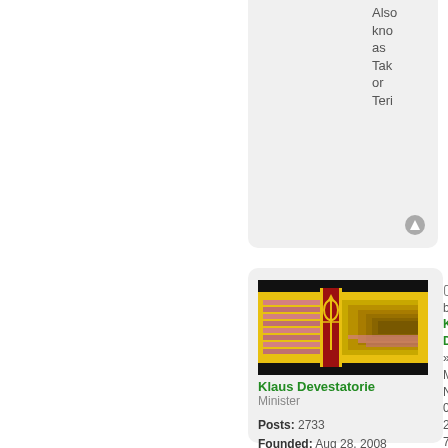Also known as Tak or Teri
[Figure (illustration): Flag/emblem image for Klaus Devestatorie - a stylized flag with black, gold, red, and pink horizontal stripes with a central vertical red banner bearing a gold emblem]
Klaus Devestatorie
Minister

Posts: 2733
Founded: Aug 28, 2008
Compulsory Consumerist State
by Klaus Devestatorie » Mon Nov 04, 2013 7:44 pm